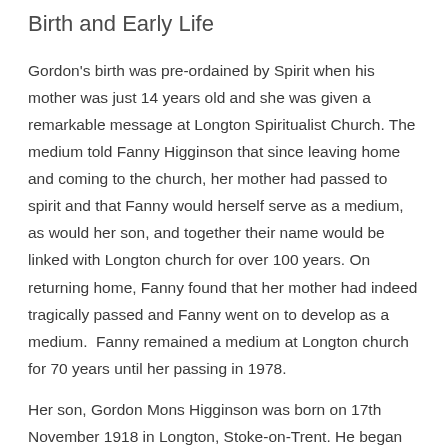Birth and Early Life
Gordon's birth was pre-ordained by Spirit when his mother was just 14 years old and she was given a remarkable message at Longton Spiritualist Church. The medium told Fanny Higginson that since leaving home and coming to the church, her mother had passed to spirit and that Fanny would herself serve as a medium, as would her son, and together their name would be linked with Longton church for over 100 years. On returning home, Fanny found that her mother had indeed tragically passed and Fanny went on to develop as a medium.  Fanny remained a medium at Longton church for 70 years until her passing in 1978.
Her son, Gordon Mons Higginson was born on 17th November 1918 in Longton, Stoke-on-Trent. He began